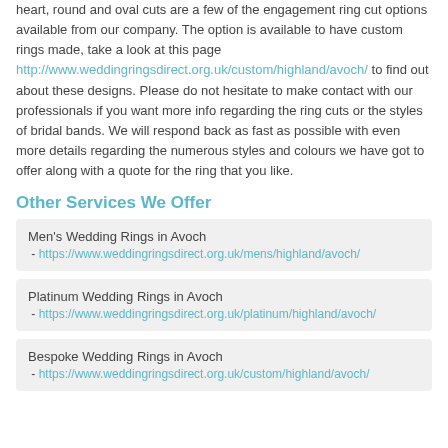heart, round and oval cuts are a few of the engagement ring cut options available from our company. The option is available to have custom rings made, take a look at this page http://www.weddingringsdirect.org.uk/custom/highland/avoch/ to find out about these designs. Please do not hesitate to make contact with our professionals if you want more info regarding the ring cuts or the styles of bridal bands. We will respond back as fast as possible with even more details regarding the numerous styles and colours we have got to offer along with a quote for the ring that you like.
Other Services We Offer
Men's Wedding Rings in Avoch - https://www.weddingringsdirect.org.uk/mens/highland/avoch/
Platinum Wedding Rings in Avoch - https://www.weddingringsdirect.org.uk/platinum/highland/avoch/
Bespoke Wedding Rings in Avoch - https://www.weddingringsdirect.org.uk/custom/highland/avoch/